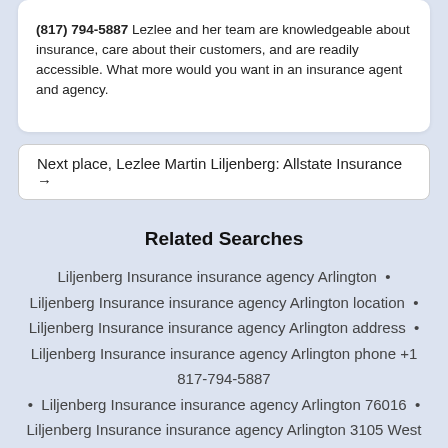(817) 794-5887 Lezlee and her team are knowledgeable about insurance, care about their customers, and are readily accessible. What more would you want in an insurance agent and agency.
Next place, Lezlee Martin Liljenberg: Allstate Insurance →
Related Searches
Liljenberg Insurance insurance agency Arlington •
Liljenberg Insurance insurance agency Arlington location •
Liljenberg Insurance insurance agency Arlington address •
Liljenberg Insurance insurance agency Arlington phone +1 817-794-5887
• Liljenberg Insurance insurance agency Arlington 76016 •
Liljenberg Insurance insurance agency Arlington 3105 West Arkansas Lane
• Liljenberg Insurance insurance agency Arlington Texas •